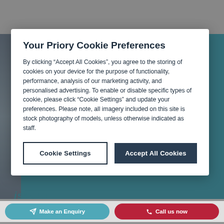Your Priory Cookie Preferences
By clicking “Accept All Cookies”, you agree to the storing of cookies on your device for the purpose of functionality, performance, analysis of our marketing activity, and personalised advertising. To enable or disable specific types of cookie, please click “Cookie Settings” and update your preferences. Please note, all imagery included on this site is stock photography of models, unless otherwise indicated as staff.
Cookie Settings
Accept All Cookies
issues
Make an Enquiry
Call us now